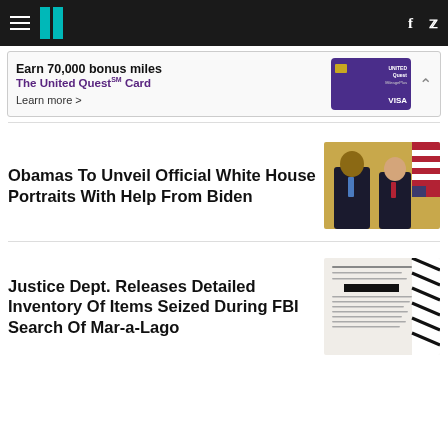HuffPost navigation bar with logo, hamburger menu, Facebook and Twitter icons
[Figure (infographic): Advertisement banner: Earn 70,000 bonus miles - The United Quest Card - Learn more > - United VISA card image]
Obamas To Unveil Official White House Portraits With Help From Biden
[Figure (photo): Obama and Biden shaking hands and smiling in formal attire, with an American flag in the background]
Justice Dept. Releases Detailed Inventory Of Items Seized During FBI Search Of Mar-a-Lago
[Figure (photo): Legal document with redacted text related to FBI search of Mar-a-Lago]